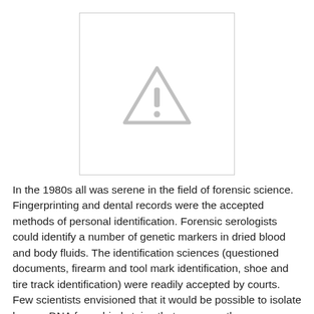[Figure (other): Placeholder image with a warning/caution triangle icon (exclamation mark inside triangle) centered in a bordered white rectangle.]
In the 1980s all was serene in the field of forensic science. Fingerprinting and dental records were the accepted methods of personal identification. Forensic serologists could identify a number of genetic markers in dried blood and body fluids. The identification sciences (questioned documents, firearm and tool mark identification, shoe and tire track identification) were readily accepted by courts. Few scientists envisioned that it would be possible to isolate human DNA from dried stains that were months or years old. However, within less than a quarter of a century forensic DNA profiling had become the gold standard against which